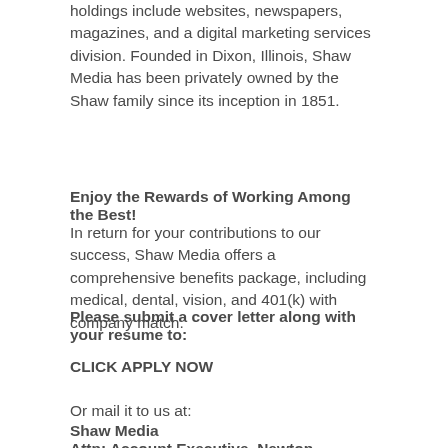holdings include websites, newspapers, magazines, and a digital marketing services division. Founded in Dixon, Illinois, Shaw Media has been privately owned by the Shaw family since its inception in 1851.
Enjoy the Rewards of Working Among the Best!
In return for your contributions to our success, Shaw Media offers a comprehensive benefits package, including medical, dental, vision, and 401(k) with company match.
Please submit a cover letter along with your resume to:
CLICK APPLY NOW
Or mail it to us at:
Shaw Media
Attn: Account Executive, Newton